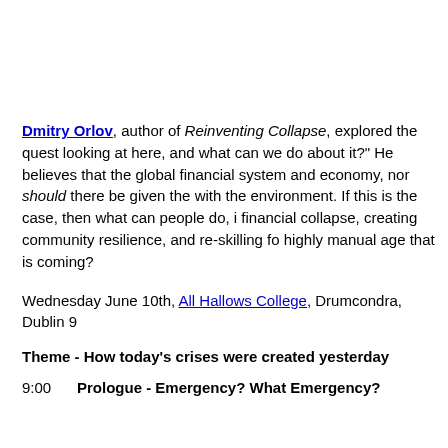Dmitry Orlov, author of Reinventing Collapse, explored the quest looking at here, and what can we do about it?" He believes that the global financial system and economy, nor should there be given the with the environment. If this is the case, then what can people do, financial collapse, creating community resilience, and re-skilling f highly manual age that is coming?
Wednesday June 10th, All Hallows College, Drumcondra, Dublin 9
Theme - How today's crises were created yesterday
9:00    Prologue - Emergency? What Emergency?